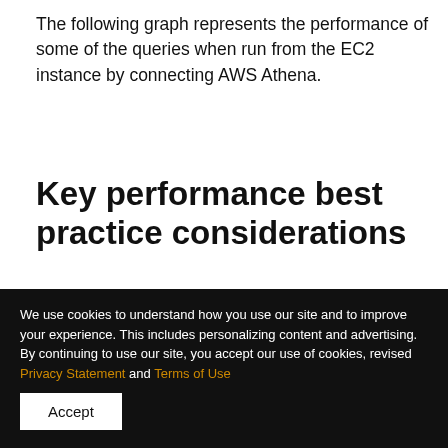The following graph represents the performance of some of the queries when run from the EC2 instance by connecting AWS Athena.
Key performance best practice considerations
When considering Athena federation with Oracle Database, you could take into account the following best practices:
We use cookies to understand how you use our site and to improve your experience. This includes personalizing content and advertising. By continuing to use our site, you accept our use of cookies, revised Privacy Statement and Terms of Use